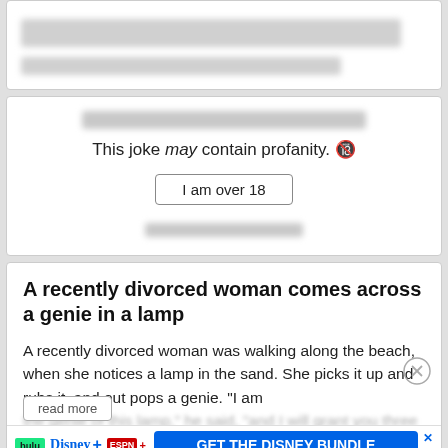[Figure (screenshot): Top portion of a website card, blurred/cropped, showing a gray blurred bar]
This joke may contain profanity. 🔞
I am over 18
A recently divorced woman comes across a genie in a lamp
A recently divorced woman was walking along the beach, when she notices a lamp in the sand. She picks it up and rubs it, and out pops a genie. "I am the genie of this lamp," he said, "and I will grant you three wishes, however you re... read more"
[Figure (screenshot): Disney Bundle advertisement banner showing Hulu, Disney+, ESPN+ logos and GET THE DISNEY BUNDLE call to action button]